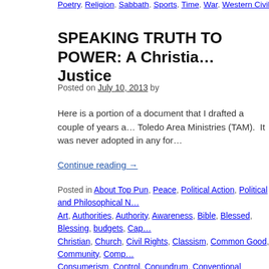Poetry, Religion, Sabbath, Sports, Time, War, Western Civilization, Work | Le…
SPEAKING TRUTH TO POWER: A Christia… Justice
Posted on July 10, 2013 by
Here is a portion of a document that I drafted a couple of years a… Toledo Area Ministries (TAM). It was never adopted in any for…
Continue reading →
Posted in About Top Pun, Peace, Political Action, Political and Philosophical N… Art, Authorities, Authority, Awareness, Bible, Blessed, Blessing, budgets, Cap… Christian, Church, Civil Rights, Classism, Common Good, Community, Comp… Consumerism, Control, Conundrum, Conventional Wisdom, Creation, Creativ… Violence, Domination, Dream, Economic, Egalitarian, Enemies, Equality, Evil… Forgiveness, Freedom, Future, Gender, Gift, God, government, Grace, Gree… Hell, History, Holy, Hope, Hospitality, Human Rights, Humanity, Humility, Idola… Incarnation, Inequality, Injustice, Intimacy, Israel, Jerusalem, Jesus, Journey… leadership, Life, Logic, Loss, Love, Market, Materialism, Meaning, Mercy, Mili… Moral, Morality, Nationalism, Nature, Nonviolence, Patience, Patriarchy, Patri… Political, Politics, Poor, Possessions, Power, Powers that be, Prayer, Present… Questions, Racism, Radical, Rage, Reality, Reconciliation, Relationships, Re…